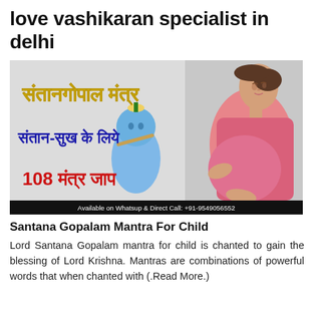love vashikaran specialist in delhi
[Figure (photo): Promotional banner image with Hindi text reading 'Santangopala Mantra', 'Santan-Sukh ke liye', '108 Mantra Jaap' with an image of Lord Krishna and a pregnant woman in pink. Black bar at bottom reads 'Available on Whatsup & Direct Call: +91-9549056552']
Santana Gopalam Mantra For Child
Lord Santana Gopalam mantra for child is chanted to gain the blessing of Lord Krishna. Mantras are combinations of powerful words that when chanted with (.Read More.)